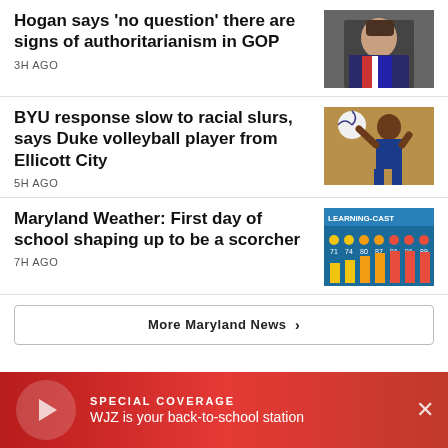Hogan says 'no question' there are signs of authoritarianism in GOP
3H AGO
BYU response slow to racial slurs, says Duke volleyball player from Ellicott City
5H AGO
Maryland Weather: First day of school shaping up to be a scorcher
7H AGO
More Maryland News
SPECIAL COVERAGE
WJZ is your back-to-school station